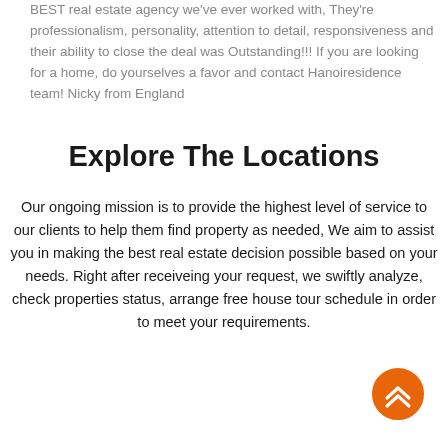BEST real estate agency we've ever worked with, They're professionalism, personality, attention to detail, responsiveness and their ability to close the deal was Outstanding!!! If you are looking for a home, do yourselves a favor and contact Hanoiresidence team! Nicky from England
Explore The Locations
Our ongoing mission is to provide the highest level of service to our clients to help them find property as needed, We aim to assist you in making the best real estate decision possible based on your needs. Right after receiveing your request, we swiftly analyze, check properties status, arrange free house tour schedule in order to meet your requirements.